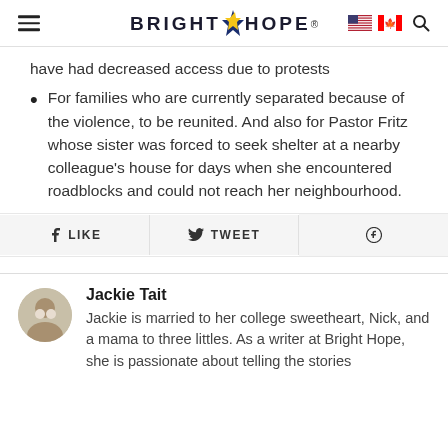BRIGHT HOPE
have had decreased access due to protests
For families who are currently separated because of the violence, to be reunited. And also for Pastor Fritz whose sister was forced to seek shelter at a nearby colleague's house for days when she encountered roadblocks and could not reach her neighbourhood.
LIKE   TWEET   (Pinterest icon)
Jackie Tait
Jackie is married to her college sweetheart, Nick, and a mama to three littles. As a writer at Bright Hope, she is passionate about telling the stories